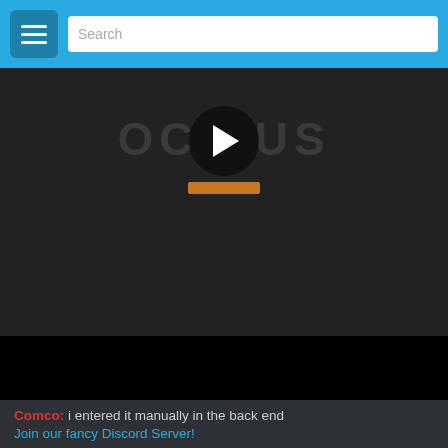Search
[Figure (screenshot): Video player showing OCTOPUS logo with play button and hat icon on dark background, with black control bar at bottom]
Comco: i entered it manually in the back end
Join our fancy Discord Server!
MadKoiFish 3 Member Posts: 4,820 Burntfornia 6061
3 years ago
1 YEAR 5 YEARS 10 YEARS 15 YEARS 100+ 500+ 1000+ 5000+ badges, IV V VI VII VIII IX X
yeah last time I had blender up it looked more like modo with the dark